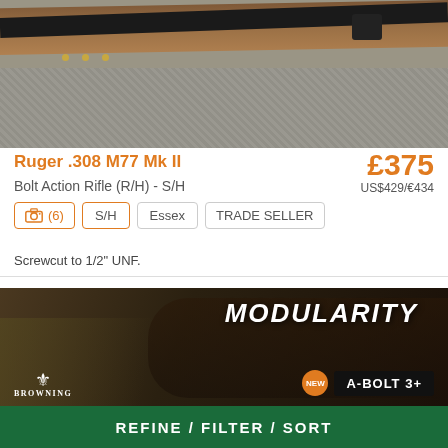[Figure (photo): Photo of a Ruger .308 M77 Mk II bolt action rifle with a black strap/sling on a grey carpet background]
Ruger .308 M77 Mk II
£375
US$429/€434
Bolt Action Rifle (R/H) - S/H
(6)  S/H  Essex  TRADE SELLER
Screwcut to 1/2" UNF.
[Figure (photo): Browning A-Bolt 3+ advertisement banner with MODULARITY text and rifle scope imagery]
REFINE / FILTER / SORT